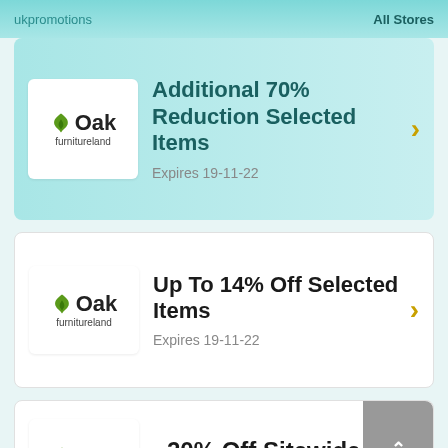ukpromotions | All Stores
[Figure (logo): Oak Furnitureland logo]
Additional 70% Reduction Selected Items
Expires 19-11-22
[Figure (logo): Oak Furnitureland logo]
Up To 14% Off Selected Items
Expires 19-11-22
[Figure (logo): Oak Furnitureland logo]
20% Off Sitewide
Expires 20-10-22